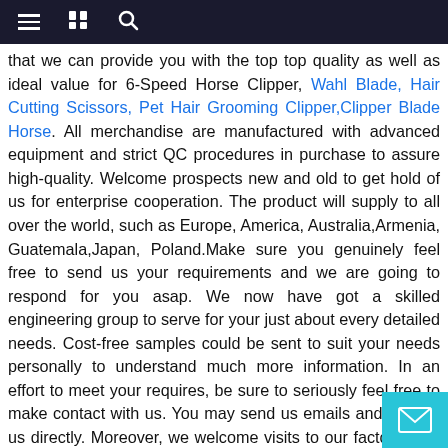Navigation bar with hamburger menu, book icon, and search icon
that we can provide you with the top top quality as well as ideal value for 6-Speed Horse Clipper, Wahl Blade, Hair Cutting Scissors, Pet Hair Grooming Clipper,Clipper Blade Horse. All merchandise are manufactured with advanced equipment and strict QC procedures in purchase to assure high-quality. Welcome prospects new and old to get hold of us for enterprise cooperation. The product will supply to all over the world, such as Europe, America, Australia,Armenia, Guatemala,Japan, Poland.Make sure you genuinely feel free to send us your requirements and we are going to respond for you asap. We now have got a skilled engineering group to serve for your just about every detailed needs. Cost-free samples could be sent to suit your needs personally to understand much more information. In an effort to meet your requires, be sure to seriously feel free to make contact with us. You may send us emails and contact us directly. Moreover, we welcome visits to our factory from around the globe for much better recognizing of our organization. nd objects. In our tra with merchants of numerous countries, we usually ac